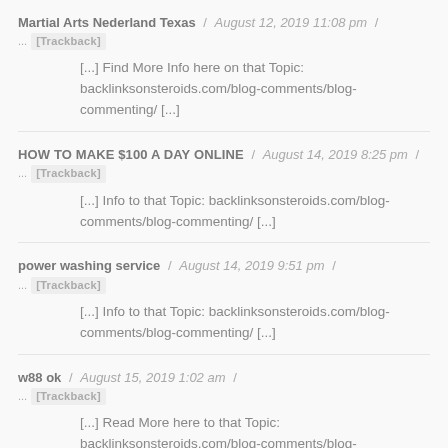Martial Arts Nederland Texas / August 12, 2019 11:08 pm / ... [Trackback]
[...] Find More Info here on that Topic: backlinksonsteroids.com/blog-comments/blog-commenting/ [...]
HOW TO MAKE $100 A DAY ONLINE / August 14, 2019 8:25 pm / ... [Trackback]
[...] Info to that Topic: backlinksonsteroids.com/blog-comments/blog-commenting/ [...]
power washing service / August 14, 2019 9:51 pm / ... [Trackback]
[...] Info to that Topic: backlinksonsteroids.com/blog-comments/blog-commenting/ [...]
w88 ok / August 15, 2019 1:02 am / ... [Trackback]
[...] Read More here to that Topic: backlinksonsteroids.com/blog-comments/blog-